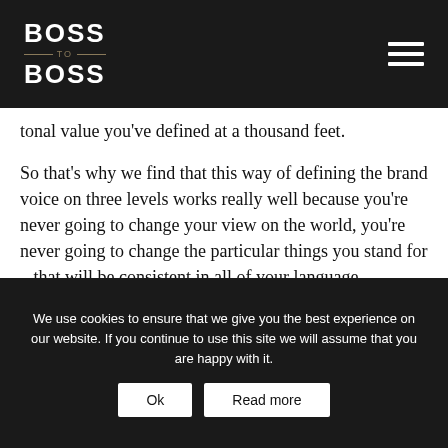BOSS TO BOSS
tonal value you’ve defined at a thousand feet.
So that’s why we find that this way of defining the brand voice on three levels works really well because you’re never going to change your view on the world, you’re never going to change the particular things you stand for – that will be consistent in all of your language communications, that’s what keeps your brand voice consistent – but you do want to be able to turn up and turn down certain values according to the environment.
We use cookies to ensure that we give you the best experience on our website. If you continue to use this site we will assume that you are happy with it.